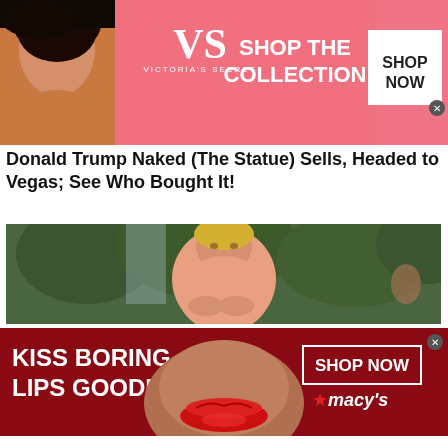[Figure (photo): Victoria's Secret advertisement banner with a model, VS logo, 'SHOP THE COLLECTION' text and 'SHOP NOW' button]
Donald Trump Naked (The Statue) Sells, Headed to Vegas; See Who Bought It!
[Figure (photo): Photograph of a naked Donald Trump statue standing outdoors with trees in the background]
[Figure (photo): Macy's advertisement banner with 'KISS BORING LIPS GOODBYE', a woman's face with red lips, and 'SHOP NOW' button with Macy's star logo]